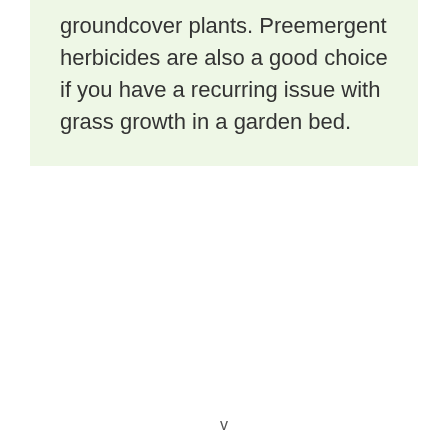groundcover plants. Preemergent herbicides are also a good choice if you have a recurring issue with grass growth in a garden bed.
v